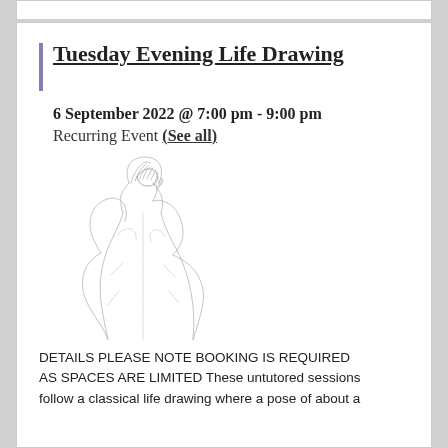Tuesday Evening Life Drawing
6 September 2022 @ 7:00 pm - 9:00 pm
Recurring Event (See all)
[Figure (illustration): A pencil sketch illustration of a figure, showing the back and shoulders of a person with hair up, done in light pencil strokes.]
DETAILS PLEASE NOTE BOOKING IS REQUIRED AS SPACES ARE LIMITED These untutored sessions follow a classical life drawing where a pose of about a...